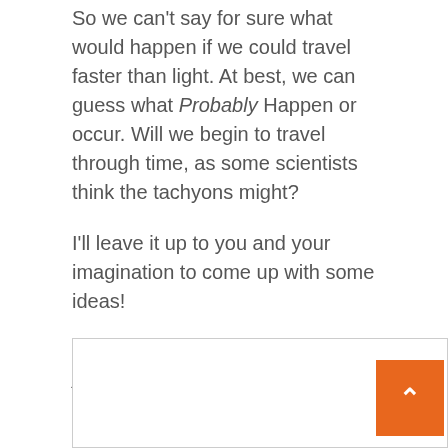So we can't say for sure what would happen if we could travel faster than light. At best, we can guess what Probably Happen or occur. Will we begin to travel through time, as some scientists think the tachyons might?
I'll leave it up to you and your imagination to come up with some ideas!
Sam BarronCo-professor, Australian Catholic University.
This article has been republished from Conversation Under a Creative Commons License. Read the original article.